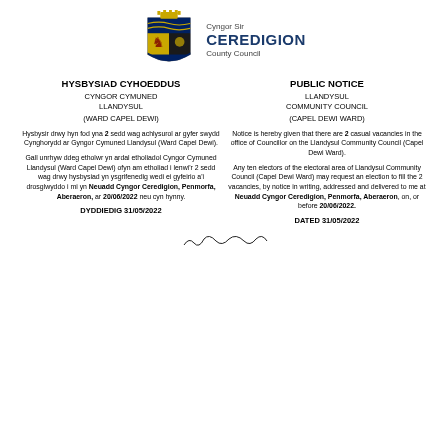[Figure (logo): Ceredigion County Council coat of arms / crest logo with shield, crown, and lions. Text: 'Cyngor Sir CEREDIGION County Council']
HYSBYSIAD CYHOEDDUS
PUBLIC NOTICE
CYNGOR CYMUNED LLANDYSUL
LLANDYSUL COMMUNITY COUNCIL
(WARD CAPEL DEWI)
(CAPEL DEWI WARD)
Hysbysir drwy hyn fod yna 2 sedd wag achlysurol ar gyfer swydd Cynghorydd ar Gyngor Cymuned Llandysul (Ward Capel Dewi).
Notice is hereby given that there are 2 casual vacancies in the office of Councillor on the Llandysul Community Council (Capel Dewi Ward).
Gall unrhyw ddeg etholwr yn ardal etholiadol Cyngor Cymuned Llandysul (Ward Capel Dewi) ofyn am etholiad i lenwi'r 2 sedd wag drwy hysbysiad yn ysgrifenedig wedi ei gyfeirio a'i drosglwyddo i mi yn Neuadd Cyngor Ceredigion, Penmorfa, Aberaeron, ar 20/06/2022 neu cyn hynny.
Any ten electors of the electoral area of Llandysul Community Council (Capel Dewi Ward) may request an election to fill the 2 vacancies, by notice in writing, addressed and delivered to me at Neuadd Cyngor Ceredigion, Penmorfa, Aberaeron, on, or before 20/06/2022.
DYDDIEDIG 31/05/2022
DATED 31/05/2022
[Figure (other): Handwritten signature]